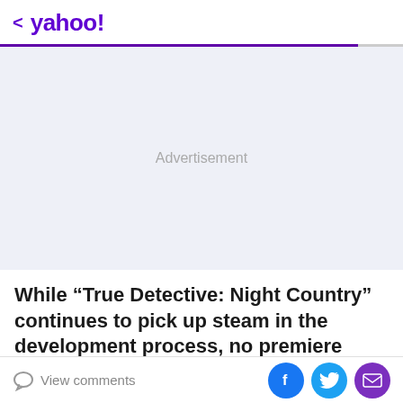< yahoo!
[Figure (other): Advertisement placeholder area with light blue-gray background and centered 'Advertisement' label]
While “True Detective: Night Country” continues to pick up steam in the development process, no premiere
View comments | Facebook share | Twitter share | Email share